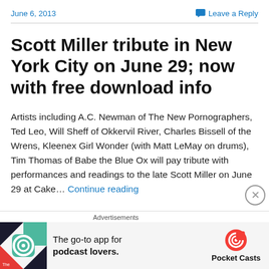June 6, 2013     Leave a Reply
Scott Miller tribute in New York City on June 29; now with free download info
Artists including A.C. Newman of The New Pornographers, Ted Leo, Will Sheff of Okkervil River, Charles Bissell of the Wrens, Kleenex Girl Wonder (with Matt LeMay on drums), Tim Thomas of Babe the Blue Ox will pay tribute with performances and readings to the late Scott Miller on June 29 at Cake... Continue reading
[Figure (infographic): Pocket Casts podcast app advertisement with colorful logo and text 'The go-to app for podcast lovers.']